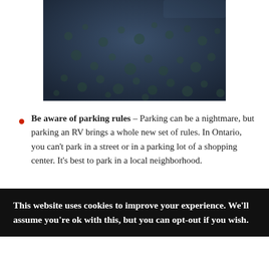[Figure (photo): Aerial or overhead photograph of dark blue-grey water surface covered with numerous circular lily pad or algae formations, giving a spotted pattern across the water.]
Be aware of parking rules – Parking can be a nightmare, but parking an RV brings a whole new set of rules. In Ontario, you can't park in a street or in a parking lot of a shopping center. It's best to park in a local neighborhood.
This website uses cookies to improve your experience. We'll assume you're ok with this, but you can opt-out if you wish.